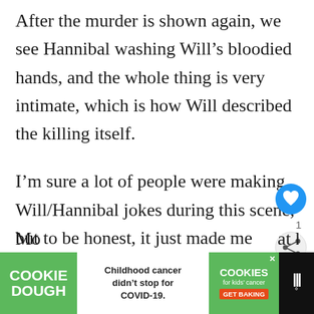After the murder is shown again, we see Hannibal washing Will’s bloodied hands, and the whole thing is very intimate, which is how Will described the killing itself.
I’m sure a lot of people were making Will/Hannibal jokes during this scene, but to be honest, it just made me uncomfortable. All I saw was someone in a position of power taking advantage of someone in a [vulnerable] state, and it wasn’t subtly done.
[Figure (screenshot): UI overlay showing a blue heart/like button with count '1' and a share button (arrows icon), plus a 'WHAT'S NEXT' panel showing 'Gotham' Recap: A...]
[Figure (screenshot): Advertisement bar at bottom: green 'COOKIE DOUGH' logo on left, white middle section reading 'Childhood cancer didn’t stop for COVID-19.', green 'cookies for kids' cancer GET BAKING' on right with close X, dark Mojo logo on far right. Partial text at very bottom left: 'Mo...at he’s']